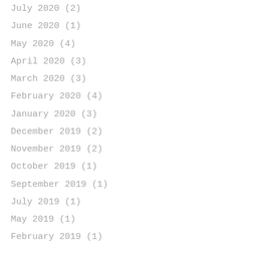July 2020 (2)
June 2020 (1)
May 2020 (4)
April 2020 (3)
March 2020 (3)
February 2020 (4)
January 2020 (3)
December 2019 (2)
November 2019 (2)
October 2019 (1)
September 2019 (1)
July 2019 (1)
May 2019 (1)
February 2019 (1)